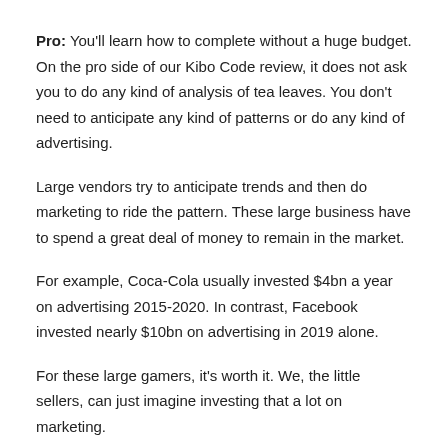Pro: You'll learn how to complete without a huge budget. On the pro side of our Kibo Code review, it does not ask you to do any kind of analysis of tea leaves. You don't need to anticipate any kind of patterns or do any kind of advertising.
Large vendors try to anticipate trends and then do marketing to ride the pattern. These large business have to spend a great deal of money to remain in the market.
For example, Coca-Cola usually invested $4bn a year on advertising 2015-2020. In contrast, Facebook invested nearly $10bn on advertising in 2019 alone.
For these large gamers, it's worth it. We, the little sellers, can just imagine investing that a lot on marketing.
As a tiny vendor, you do not have the very…